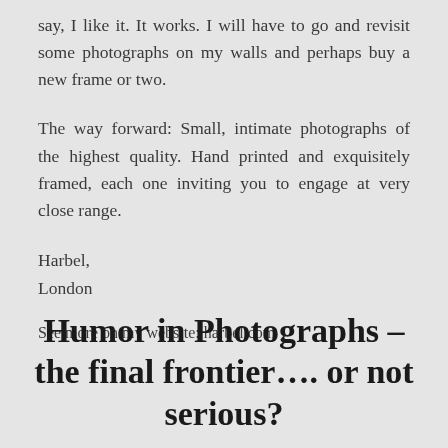say, I like it. It works. I will have to go and revisit some photographs on my walls and perhaps buy a new frame or two.
The way forward: Small, intimate photographs of the highest quality. Hand printed and exquisitely framed, each one inviting you to engage at very close range.
Harbel,
London
See more on my website: harbel.com
Humor in Photographs – the final frontier…. or not serious?